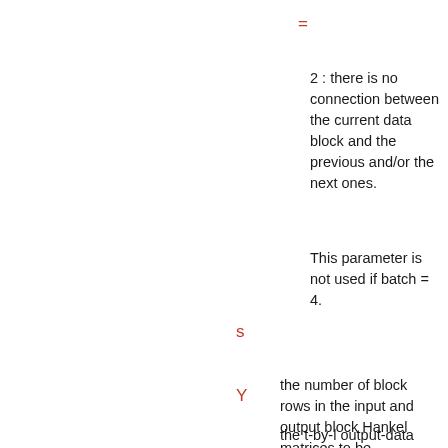=
2 : there is no connection between the current data block and the previous and/or the next ones.
This parameter is not used if batch = 4.
s
the number of block rows in the input and output block Hankel matrices to be processed. s > 0
Y
the t-by-l output-data